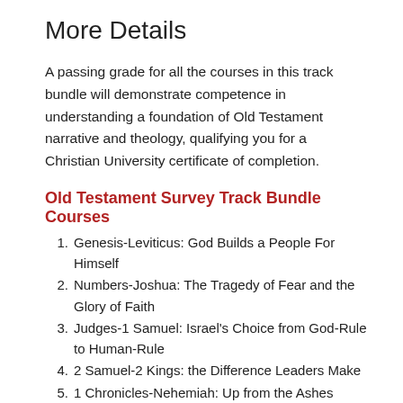More Details
A passing grade for all the courses in this track bundle will demonstrate competence in understanding a foundation of Old Testament narrative and theology, qualifying you for a Christian University certificate of completion.
Old Testament Survey Track Bundle Courses
1. Genesis-Leviticus: God Builds a People For Himself
2. Numbers-Joshua: The Tragedy of Fear and the Glory of Faith
3. Judges-1 Samuel: Israel's Choice from God-Rule to Human-Rule
4. 2 Samuel-2 Kings: the Difference Leaders Make
5. 1 Chronicles-Nehemiah: Up from the Ashes
6. Lamentations-Job: God's Path Through Pain
7. Proverbs-Psalms: Giving the Sounds of Real Life